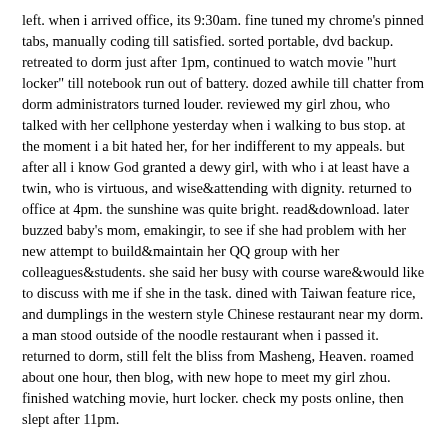left. when i arrived office, its 9:30am. fine tuned my chrome's pinned tabs, manually coding till satisfied. sorted portable, dvd backup. retreated to dorm just after 1pm, continued to watch movie "hurt locker" till notebook run out of battery. dozed awhile till chatter from dorm administrators turned louder. reviewed my girl zhou, who talked with her cellphone yesterday when i walking to bus stop. at the moment i a bit hated her, for her indifferent to my appeals. but after all i know God granted a dewy girl, with who i at least have a twin, who is virtuous, and wise&attending with dignity. returned to office at 4pm. the sunshine was quite bright. read&download. later buzzed baby's mom, emakingir, to see if she had problem with her new attempt to build&maintain her QQ group with her colleagues&students. she said her busy with course ware&would like to discuss with me if she in the task. dined with Taiwan feature rice, and dumplings in the western style Chinese restaurant near my dorm. a man stood outside of the noodle restaurant when i passed it. returned to dorm, still felt the bliss from Masheng, Heaven. roamed about one hour, then blog, with new hope to meet my girl zhou. finished watching movie, hurt locker. check my posts online, then slept after 11pm.
17/3/2010
reunited with baby son in dragon head lunar holiday.^got up at 7:20am. in office read after posting tweets. sorted stuff from web. refined some family google profiles. some deep insight in articles from e-magazine, economist, invited my review. the parties' dispute, the history burden in Japan's government-dominating economics. buzzed baby's mom, emakingir's land phone, but the grandma there said her daughter just left. baby said brought to hospital in the morning. baby son reluctant talk to me when i buzzed again just wanting to listen him. returned to